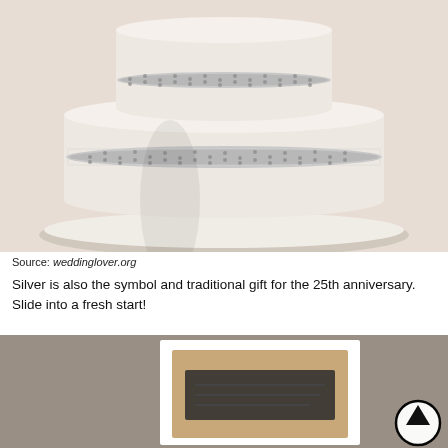[Figure (photo): A two-tiered white/ivory wedding cake decorated with silver rhinestone bands, sitting on a white cake plate on a white tablecloth. A silver framed photo is partially visible on the right.]
Source: weddinglover.org
Silver is also the symbol and traditional gift for the 25th anniversary. Slide into a fresh start!
[Figure (photo): A greeting card with a kraft paper inner card featuring decorative black text/design, placed on a beige/taupe background. An up-arrow circle icon is overlaid in the bottom right.]